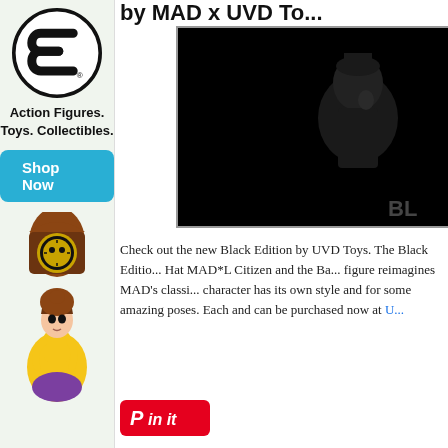[Figure (advertisement): Advertisement for a toy/collectibles store featuring a circular logo with stylized number 3, text 'Action Figures. Toys. Collectibles.' with a cyan Shop Now button, and a Belle (Beauty and the Beast) Funko Pop figure with a clock character in the background.]
by MAD x UVD To...
[Figure (photo): Dark/black product photo of a toy figure (MAD Black Edition) with 'BL' watermark visible in the lower right corner.]
Check out the new Black Edition by UVD Toys. The Black Edition Hat MAD*L Citizen and the Ba... figure reimagines MAD's classi... character has its own style and for some amazing poses. Each and can be purchased now at U...
[Figure (logo): Pinterest 'Pin it' button — red rounded rectangle with white 'Pin it' text in italic style.]